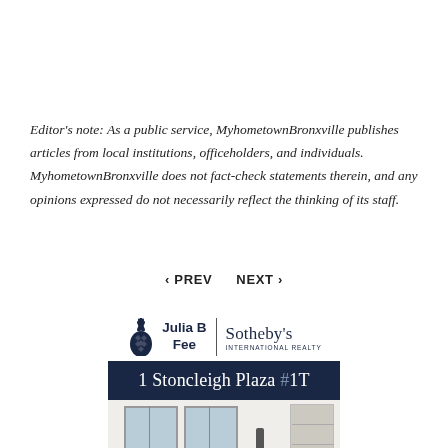Editor's note: As a public service, MyhometownBronxville publishes articles from local institutions, officeholders, and individuals. MyhometownBronxville does not fact-check statements therein, and any opinions expressed do not necessarily reflect the thinking of its staff.
< PREV   NEXT >
[Figure (logo): Julia B Fee Sotheby's International Realty logo with pineapple icon, advertisement for 1 Stoncleigh Plaza #1T showing interior room photo]